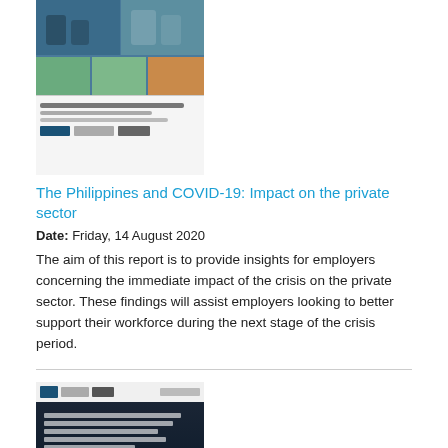[Figure (photo): Thumbnail image of a report cover about The Philippines and COVID-19, showing office workers and document pages with logos at bottom]
The Philippines and COVID-19: Impact on the private sector
Date: Friday, 14 August 2020
The aim of this report is to provide insights for employers concerning the immediate impact of the crisis on the private sector. These findings will assist employers looking to better support their workforce during the next stage of the crisis period.
[Figure (photo): Thumbnail image of WeEmpowerAsia Bulletin showing a dark-themed newsletter with logos and an awards image]
WeEmpowerAsia Bulletin
Date: Thursday, 13 February 2020
This bulletin features stories, events, announcements, publications